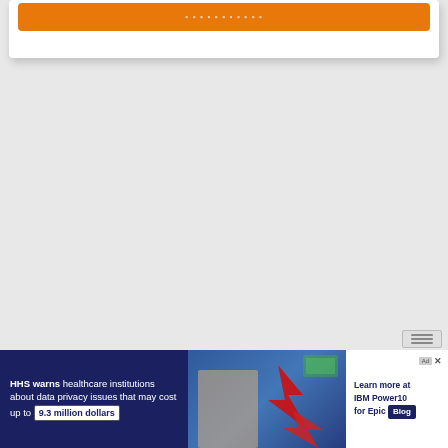[Figure (screenshot): Top portion of a web page card with an orange button/banner at the top containing light-colored text, set against a white card with shadow on a light gray background.]
[Figure (screenshot): Advertisement banner with dark navy blue background. Left side shows text: 'HHS warns healthcare institutions about data privacy issues that may cost up to 9.3 million dollars'. Middle shows a person with glasses and financial imagery with red downward arrow. Right side on white background shows 'Learn more at IBM Power10 for Epic Blog' with ad/close icons.]